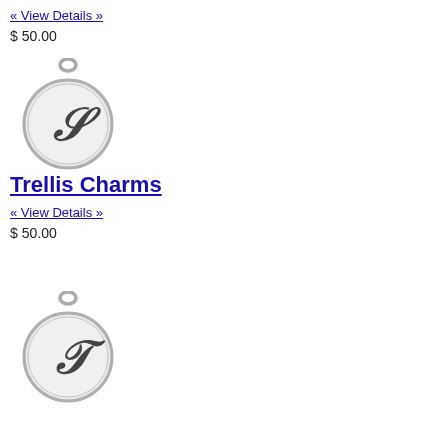« View Details »
$ 50.00
[Figure (photo): Silver circular charm with ornate letter S engraved, with a small bail/loop at top for attaching to a chain.]
Trellis Charms
« View Details »
$ 50.00
[Figure (photo): Silver circular charm with ornate letter T engraved, with a small bail/loop at top for attaching to a chain.]